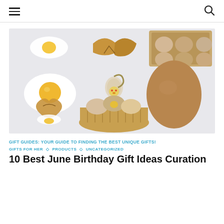≡  🔍
[Figure (photo): Flat lay photo of various egg-themed items on a light background: a fried egg decoration, cracked eggshells, a key ring with a chick figure, a large brown egg, eggs in a carton, and eggs in a woven basket.]
GIFT GUIDES: YOUR GUIDE TO FINDING THE BEST UNIQUE GIFTS!
GIFTS FOR HER  ◇  PRODUCTS  ◇  UNCATEGORIZED
10 Best June Birthday Gift Ideas Curation